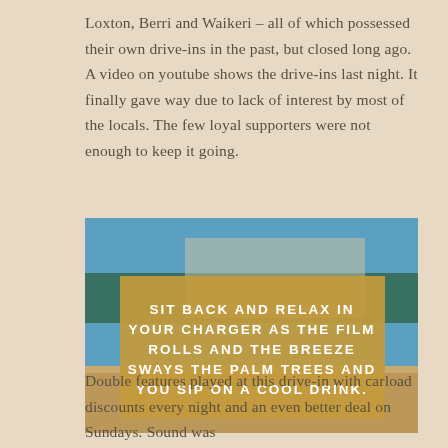Loxton, Berri and Waikeri – all of which possessed their own drive-ins in the past, but closed long ago. A video on youtube shows the drive-ins last night. It finally gave way due to lack of interest by most of the locals. The few loyal supporters were not enough to keep it going.
[Figure (photo): A photo of a drive-in movie location with a blue sky, palm trees, and sandy/dusty ground. Overlaid with a gold/tan rectangular box containing white uppercase text: SIT BACK AND RELAX IN YOUR CHARGER AS THE FILM ROLLS AND THE BREEZE SWAYS THE PALM TREES AND YOU SIP ON A COOL DRINK.]
Double features played at this drive-in with carload discounts every night and an even better deal on Sundays. Sound was